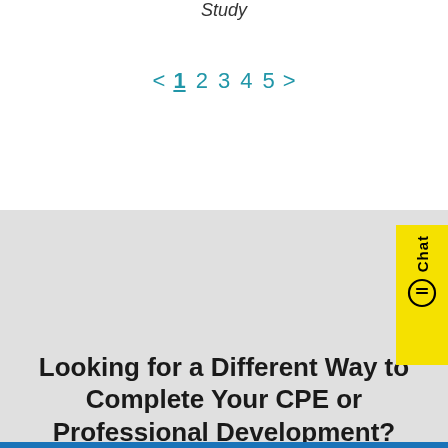Study
< 1 2 3 4 5 >
Looking for a Different Way to Complete Your CPE or Professional Development?